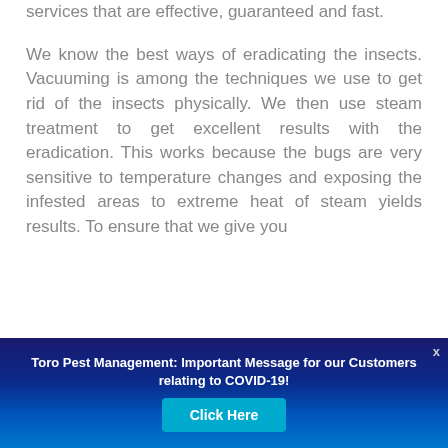services that are effective, guaranteed and fast.
We know the best ways of eradicating the insects. Vacuuming is among the techniques we use to get rid of the insects physically. We then use steam treatment to get excellent results with the eradication. This works because the bugs are very sensitive to temperature changes and exposing the infested areas to extreme heat of steam yields results. To ensure that we give you
Toro Pest Management: Important Message for our Customers relating to COVID-19!
Click Here